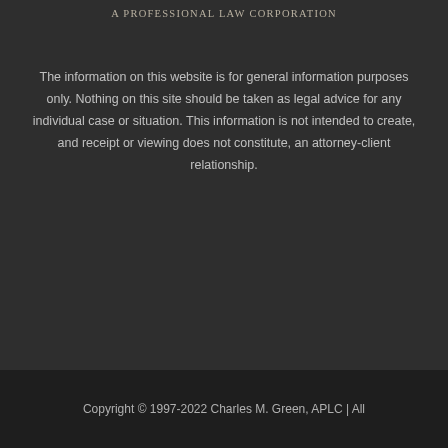A PROFESSIONAL LAW CORPORATION
The information on this website is for general information purposes only. Nothing on this site should be taken as legal advice for any individual case or situation. This information is not intended to create, and receipt or viewing does not constitute, an attorney-client relationship.
Copyright © 1997-2022 Charles M. Green, APLC | All